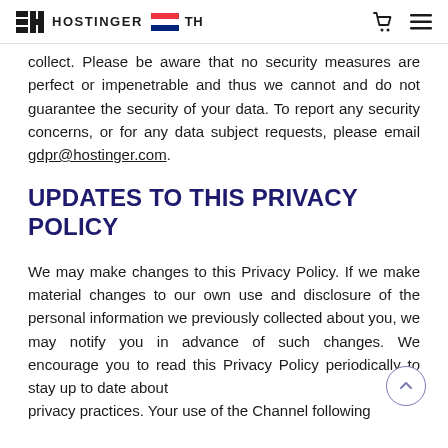HOSTINGER TH
collect. Please be aware that no security measures are perfect or impenetrable and thus we cannot and do not guarantee the security of your data. To report any security concerns, or for any data subject requests, please email gdpr@hostinger.com.
UPDATES TO THIS PRIVACY POLICY
We may make changes to this Privacy Policy. If we make material changes to our own use and disclosure of the personal information we previously collected about you, we may notify you in advance of such changes. We encourage you to read this Privacy Policy periodically to stay up to date about privacy practices. Your use of the Channel following